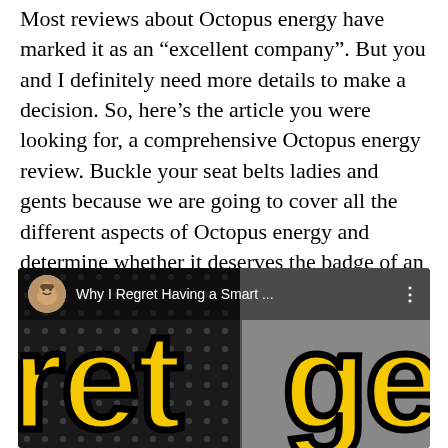Most reviews about Octopus energy have marked it as an “excellent company”. But you and I definitely need more details to make a decision. So, here’s the article you were looking for, a comprehensive Octopus energy review. Buckle your seat belts ladies and gents because we are going to cover all the different aspects of Octopus energy and determine whether it deserves the badge of an “excellent company”.
[Figure (screenshot): A YouTube video thumbnail screenshot showing a video titled 'Why I Regret Having a Smart ...' with a man's avatar/photo in the top-left corner, a three-dot menu in the top-right, and large yellow bold text 'ret ge' (partial, cut off) with black outline on a dark dotted background (left) and blurred grey background (right).]